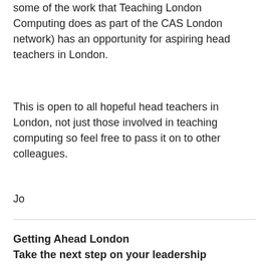some of the work that Teaching London Computing does as part of the CAS London network) has an opportunity for aspiring head teachers in London.
This is open to all hopeful head teachers in London, not just those involved in teaching computing so feel free to pass it on to other colleagues.
Jo
Getting Ahead London
Take the next step on your leadership